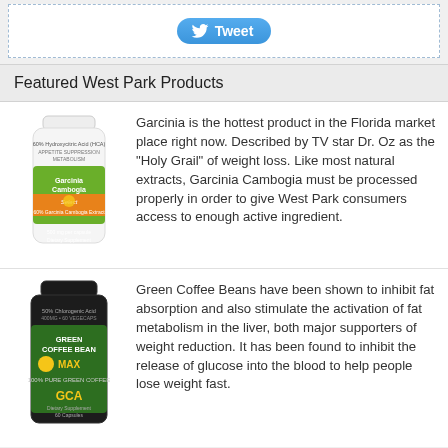[Figure (other): Twitter Tweet button with bird icon]
Featured West Park Products
[Figure (photo): Garcinia Cambogia Select supplement bottle - white bottle with green and orange label]
Garcinia is the hottest product in the Florida market place right now. Described by TV star Dr. Oz as the "Holy Grail" of weight loss. Like most natural extracts, Garcinia Cambogia must be processed properly in order to give West Park consumers access to enough active ingredient.
[Figure (photo): Green Coffee Bean MAX supplement bottle - dark bottle with green label and GCA branding]
Green Coffee Beans have been shown to inhibit fat absorption and also stimulate the activation of fat metabolism in the liver, both major supporters of weight reduction. It has been found to inhibit the release of glucose into the blood to help people lose weight fast.